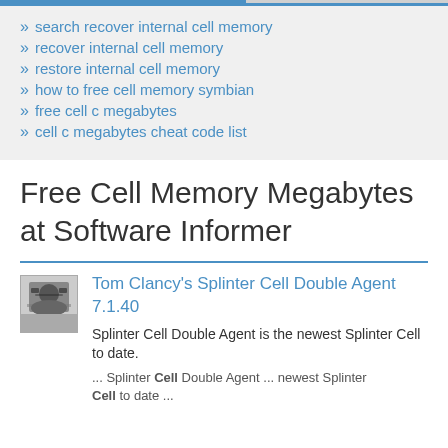» search recover internal cell memory
» recover internal cell memory
» restore internal cell memory
» how to free cell memory symbian
» free cell c megabytes
» cell c megabytes cheat code list
Free Cell Memory Megabytes at Software Informer
[Figure (photo): Thumbnail image of a person wearing sunglasses, grayscale photo used as software icon]
Tom Clancy's Splinter Cell Double Agent 7.1.40
Splinter Cell Double Agent is the newest Splinter Cell to date.
... Splinter Cell Double Agent ... newest Splinter Cell to date ...